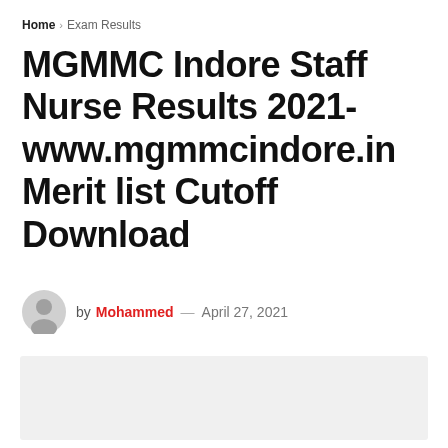Home > Exam Results
MGMMC Indore Staff Nurse Results 2021- www.mgmmcindore.in Merit list Cutoff Download
by Mohammed — April 27, 2021
[Figure (other): Light grey placeholder image block]